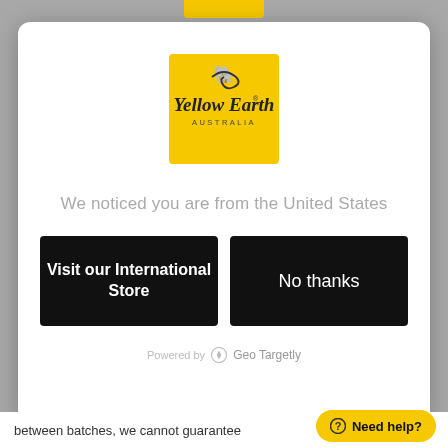[Figure (logo): Yellow Earth Australia logo — yellow square background with black handwritten-style text reading 'Yellow Earth' and 'AUSTRALIA', with a small decorative swirl above]
We noticed you are from the United States
Visit our International Store
No thanks
Powered by Geo Targetly
between batches, we cannot guarantee
Need help?